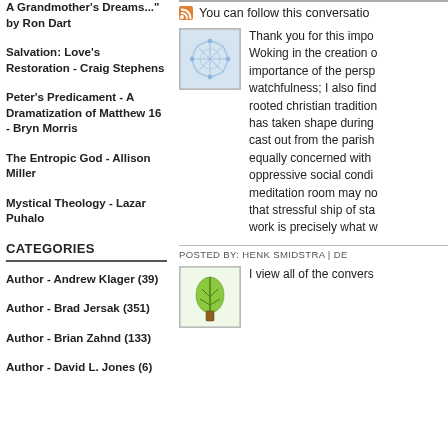A Grandmother's Dreams..." by Ron Dart
Salvation: Love's Restoration - Craig Stephens
Peter's Predicament - A Dramatization of Matthew 16 - Bryn Morris
The Entropic God - Allison Miller
Mystical Theology - Lazar Puhalo
CATEGORIES
Author - Andrew Klager (39)
Author - Brad Jersak (351)
Author - Brian Zahnd (133)
Author - David L. Jones (6)
You can follow this conversatio
[Figure (illustration): Blue fractal/neural network avatar image]
Thank you for this impo Woking in the creation o importance of the persp watchfulness; I also find rooted christian tradition has taken shape during cast out from the parish equally concerned with oppressive social condi meditation room may no that stressful ship of sta work is precisely what w
POSTED BY: HENK SMIDSTRA | DE
[Figure (illustration): Green leaf/plant avatar image]
I view all of the convers